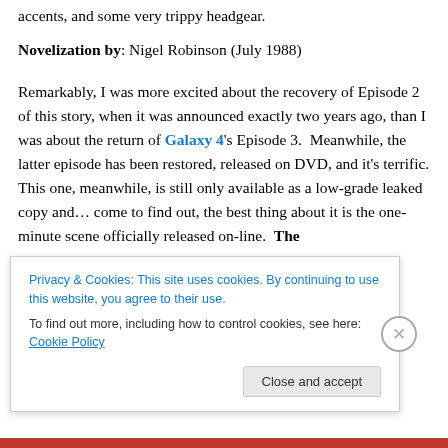accents, and some very trippy headgear.
Novelization by: Nigel Robinson (July 1988)
Remarkably, I was more excited about the recovery of Episode 2 of this story, when it was announced exactly two years ago, than I was about the return of Galaxy 4's Episode 3.  Meanwhile, the latter episode has been restored, released on DVD, and it's terrific. This one, meanwhile, is still only available as a low-grade leaked copy and… come to find out, the best thing about it is the one-minute scene officially released on-line.  The
Privacy & Cookies: This site uses cookies. By continuing to use this website, you agree to their use. To find out more, including how to control cookies, see here: Cookie Policy
Close and accept